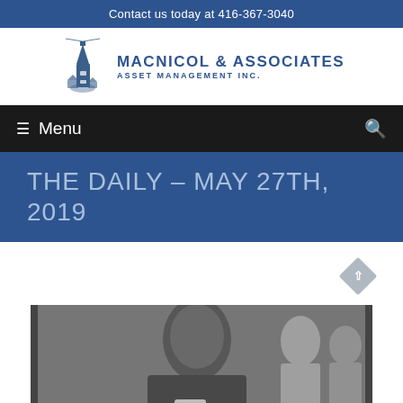Contact us today at 416-367-3040
[Figure (logo): MacNicol & Associates Asset Management Inc. logo with lighthouse illustration]
≡ Menu
THE DAILY – MAY 27TH, 2019
[Figure (photo): Black and white photo of a man in foreground, other people visible in background]